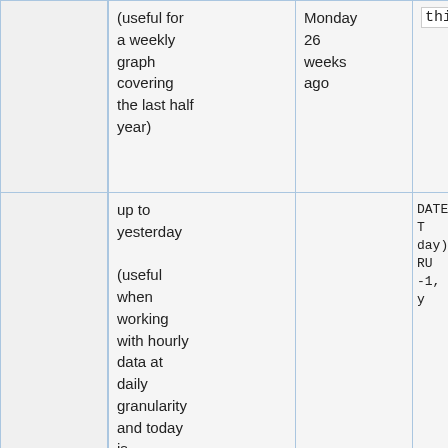|  | Description | Example value | Example expression |
| --- | --- | --- | --- |
|  | (useful for a weekly graph covering the last half year) | Monday 26 weeks ago | this Monday |
|  | up to yesterday

(useful when working with hourly data at daily granularity and today is incomplete) |  | DATETRUNC(DAT day) or DATETR -1, day), day |